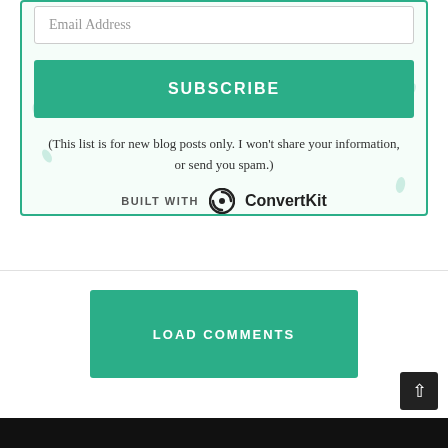Email Address
SUBSCRIBE
(This list is for new blog posts only. I won't share your information, or send you spam.)
[Figure (logo): Built with ConvertKit logo — text reading BUILT WITH followed by ConvertKit circular logo icon and wordmark]
LOAD COMMENTS
[Figure (other): Back to top arrow button, dark background with upward chevron]